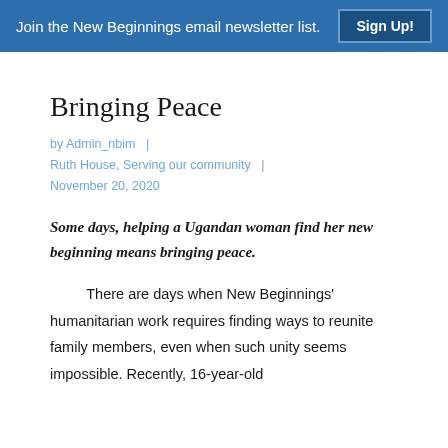Join the New Beginnings email newsletter list.  Sign Up!
Bringing Peace
by Admin_nbim  |  Ruth House, Serving our community  |  November 20, 2020
Some days, helping a Ugandan woman find her new beginning means bringing peace.
There are days when New Beginnings' humanitarian work requires finding ways to reunite family members, even when such unity seems impossible. Recently, 16-year-old